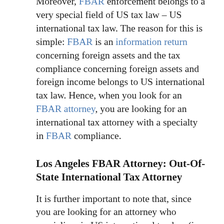Moreover, FBAR enforcement belongs to a very special field of US tax law – US international tax law. The reason for this is simple: FBAR is an information return concerning foreign assets and the tax compliance concerning foreign assets and foreign income belongs to US international tax law. Hence, when you look for an FBAR attorney, you are looking for an international tax attorney with a specialty in FBAR compliance.
Los Angeles FBAR Attorney: Out-Of-State International Tax Attorney
It is further important to note that, since you are looking for an attorney who specializes in US international tax law (i.e. a federal area of law), you do not need to limit yourself to lawyers who reside in Los Angeles, California. On the contrary, you should consider international tax attorneys who reside in other states and help Los Angeles residents with